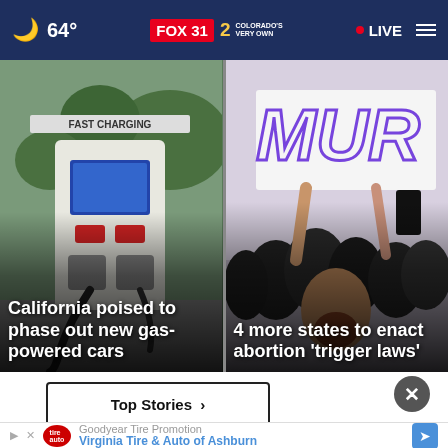64° FOX 31 2 COLORADO'S VERY OWN • LIVE
[Figure (photo): EV fast charging station with charging cables, outdoor setting. Headline overlay: California poised to phase out new gas-powered cars]
[Figure (photo): Protesters holding signs reading MUR(DER) at what appears to be a Supreme Court rally. Headline overlay: 4 more states to enact abortion 'trigger laws']
Top Stories >
[Figure (screenshot): Advertisement banner: Goodyear Tire Promotion - Virginia Tire & Auto of Ashburn]